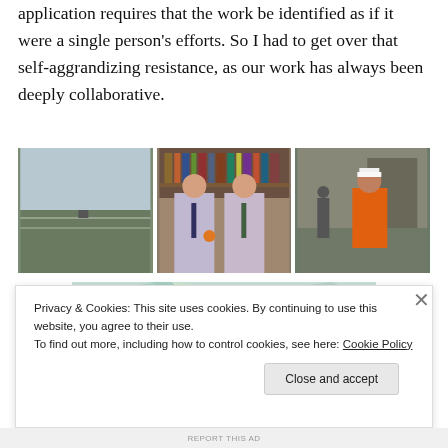application requires that the work be identified as if it were a single person's efforts. So I had to get over that self-aggrandizing resistance, as our work has always been deeply collaborative.
[Figure (photo): Three side-by-side photos: left shows a person standing at an outdoor railing with bare trees; center shows two men in dress shirts and ties smiling in an office with bookshelves; right shows a person in an orange jacket outdoors.]
[Figure (screenshot): Partial map graphic with a 'Learn more →' button overlay]
Privacy & Cookies: This site uses cookies. By continuing to use this website, you agree to their use.
To find out more, including how to control cookies, see here: Cookie Policy
Close and accept